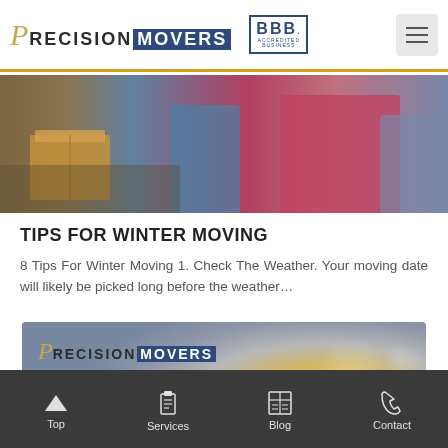Precision Movers — BBB Accredited Business — Navigation header
[Figure (photo): Hero image showing people moving boxes in winter weather, outdoor scene with cardboard boxes and people in coats]
TIPS FOR WINTER MOVING
8 Tips For Winter Moving 1. Check The Weather. Your moving date will likely be picked long before the weather…
[Figure (photo): Precision Movers branded card image with bokeh light background in gold and grey tones]
Top | Services | Blog | Contact